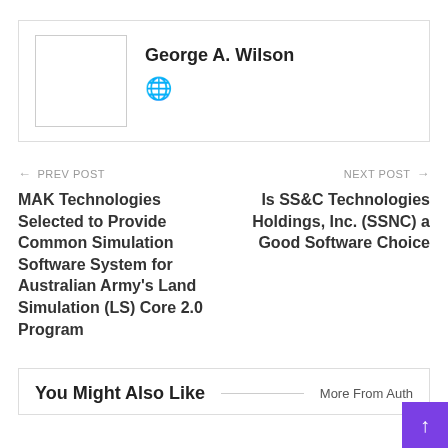George A. Wilson
PREV POST — MAK Technologies Selected to Provide Common Simulation Software System for Australian Army's Land Simulation (LS) Core 2.0 Program
NEXT POST — Is SS&C Technologies Holdings, Inc. (SSNC) a Good Software Choice
You Might Also Like | More From Author